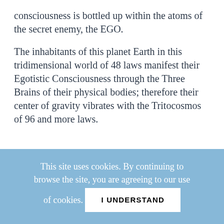consciousness is bottled up within the atoms of the secret enemy, the EGO.
The inhabitants of this planet Earth in this tridimensional world of 48 laws manifest their Egotistic Consciousness through the Three Brains of their physical bodies; therefore their center of gravity vibrates with the Tritocosmos of 96 and more laws.
This site uses cookies. By continuing to browse the site, you are agreeing to our use of cookies. I UNDERSTAND